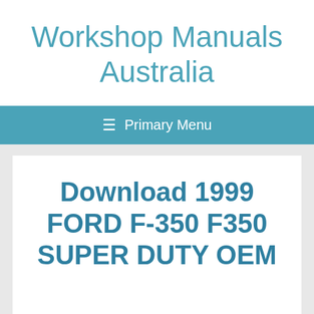Workshop Manuals Australia
≡  Primary Menu
Download 1999 FORD F-350 F350 SUPER DUTY OEM